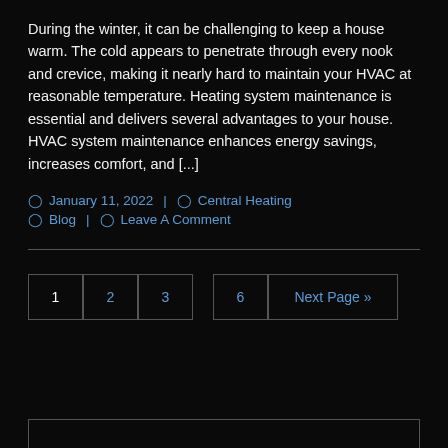During the winter, it can be challenging to keep a house warm. The cold appears to penetrate through every nook and crevice, making it nearly hard to maintain your HVAC at reasonable temperature. Heating system maintenance is essential and delivers several advantages to your house.   HVAC system maintenance enhances energy savings, increases comfort, and [...]
January 11, 2022  |  Central Heating  |  Blog  |  Leave A Comment
1  2  3  6  Next Page »